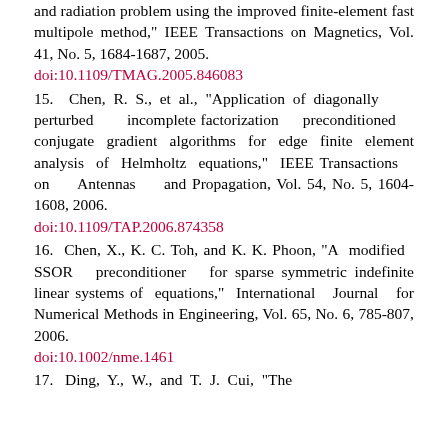and radiation problem using the improved finite-element fast multipole method," IEEE Transactions on Magnetics, Vol. 41, No. 5, 1684-1687, 2005.
doi:10.1109/TMAG.2005.846083
15. Chen, R. S., et al., "Application of diagonally perturbed incomplete factorization preconditioned conjugate gradient algorithms for edge finite element analysis of Helmholtz equations," IEEE Transactions on Antennas and Propagation, Vol. 54, No. 5, 1604-1608, 2006.
doi:10.1109/TAP.2006.874358
16. Chen, X., K. C. Toh, and K. K. Phoon, "A modified SSOR preconditioner for sparse symmetric indefinite linear systems of equations," International Journal for Numerical Methods in Engineering, Vol. 65, No. 6, 785-807, 2006.
doi:10.1002/nme.1461
17.  Ding, Y., W., and T. J. Cui, "The